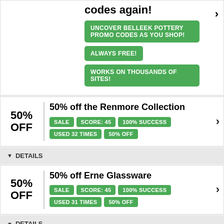codes again!
UNCOVER BELLEEK POTTERY PROMO CODES AS YOU SHOP!
ALWAYS FREE!
WORKS ON THOUSANDS OF SITES!
50% off the Renmore Collection
SALE | SCORE: 45 | 100% SUCCESS | USED 32 TIMES | 50% OFF
▼ DETAILS
50% off Erne Glassware
SALE | SCORE: 45 | 100% SUCCESS | USED 31 TIMES | 50% OFF
▼ DETAILS
Up to 50% off Galway Wine